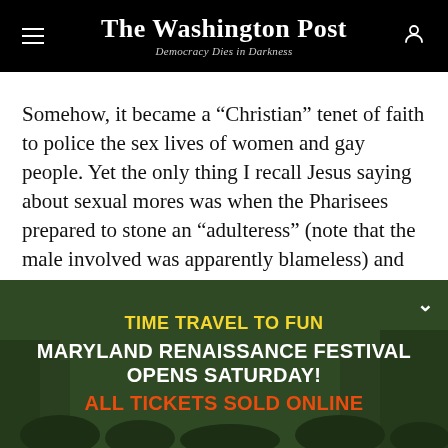The Washington Post — Democracy Dies in Darkness
Somehow, it became a “Christian” tenet of faith to police the sex lives of women and gay people. Yet the only thing I recall Jesus saying about sexual mores was when the Pharisees prepared to stone an “adulteress” (note that the male involved was apparently blameless) and offered Jesus the honor of casting the first stone at her. He said, “Let him who is without sin cast the first stone.”
[Figure (photo): Advertisement banner for Maryland Renaissance Festival overlaid on a photo of festival-goers in period costume in a wooded setting. Text reads: TIME TRAVEL TO FUN / MARYLAND RENAISSANCE FESTIVAL / OPENS SATURDAY! / ALL TICKETS SOLD ONLINE]